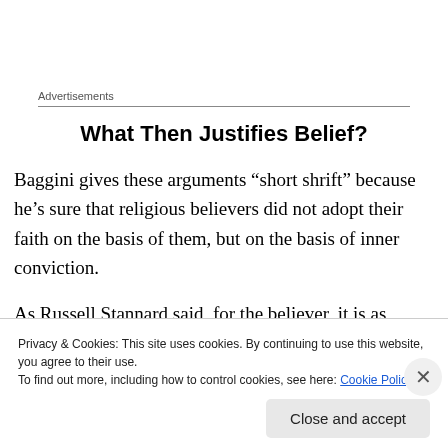Advertisements
What Then Justifies Belief?
Baggini gives these arguments “short shrift” because he’s sure that religious believers did not adopt their faith on the basis of them, but on the basis of inner conviction.
As Russell Stannard said, for the believer, it is as though
Privacy & Cookies: This site uses cookies. By continuing to use this website, you agree to their use.
To find out more, including how to control cookies, see here: Cookie Policy
Close and accept